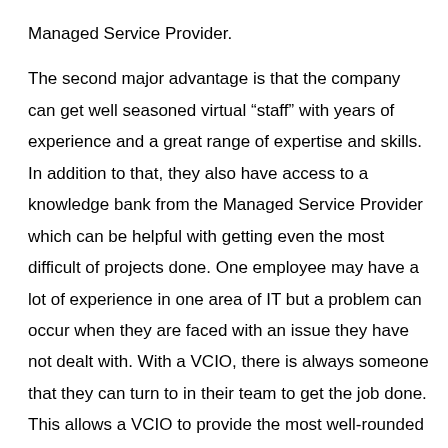Managed Service Provider.

The second major advantage is that the company can get well seasoned virtual “staff” with years of experience and a great range of expertise and skills. In addition to that, they also have access to a knowledge bank from the Managed Service Provider which can be helpful with getting even the most difficult of projects done. One employee may have a lot of experience in one area of IT but a problem can occur when they are faced with an issue they have not dealt with. With a VCIO, there is always someone that they can turn to in their team to get the job done. This allows a VCIO to provide the most well-rounded service to each of their clients.